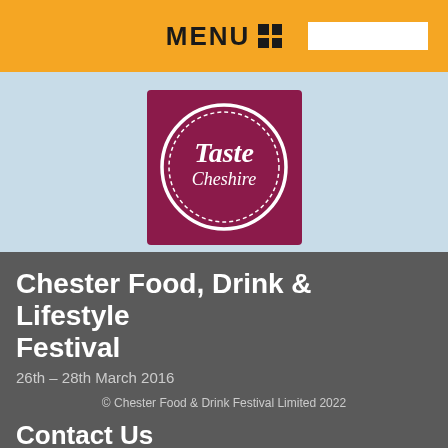MENU
[Figure (logo): Taste Cheshire logo — dark red/maroon square with white circular text reading 'Taste Cheshire']
Chester Food, Drink & Lifestyle Festival
26th – 28th March 2016
© Chester Food & Drink Festival Limited 2022
Contact Us
We are required by EU law to inform you that we use cookies on this site to improve your browsing experience. We'll assume you're ok with this, but you can opt-out if you wish.
Accept
Read More